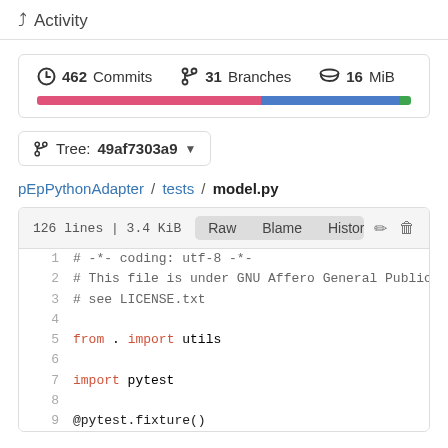Activity
462 Commits   31 Branches   16 MiB
[Figure (infographic): Horizontal language usage bar: pink (~60%), blue (~37%), green (~3%)]
Tree: 49af7303a9
pEpPythonAdapter / tests / model.py
126 lines | 3.4 KiB   Raw  Blame  History
1  # -*- coding: utf-8 -*-
2  # This file is under GNU Affero General Public Lic
3  # see LICENSE.txt
4  
5  from . import utils
6  
7  import pytest
8  
9  @pytest.fixture()